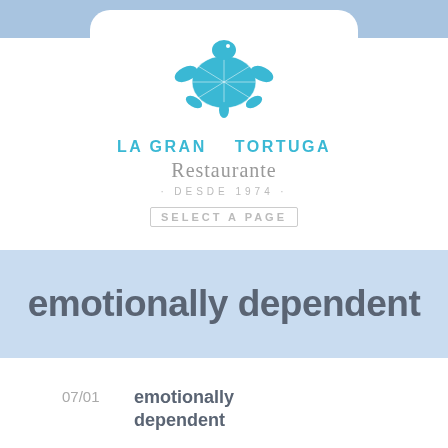[Figure (logo): La Gran Tortuga Restaurante logo with a blue turtle illustration above the brand name]
· DESDE 1974 ·
SELECT A PAGE
emotionally dependent
07/01   emotionally dependent